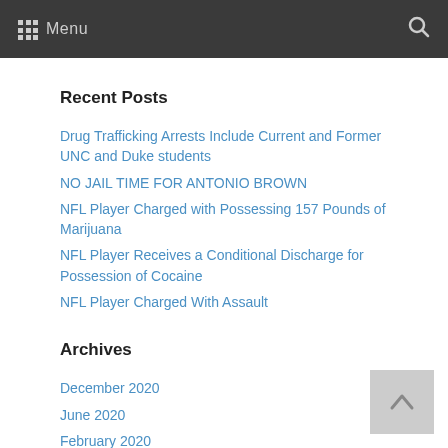Menu
Recent Posts
Drug Trafficking Arrests Include Current and Former UNC and Duke students
NO JAIL TIME FOR ANTONIO BROWN
NFL Player Charged with Possessing 157 Pounds of Marijuana
NFL Player Receives a Conditional Discharge for Possession of Cocaine
NFL Player Charged With Assault
Archives
December 2020
June 2020
February 2020
January 2020
July 2019
April 2019